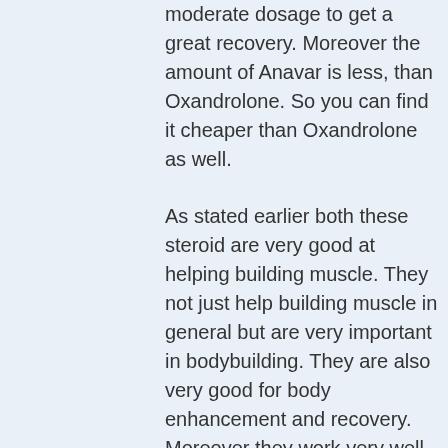moderate dosage to get a great recovery. Moreover the amount of Anavar is less, than Oxandrolone. So you can find it cheaper than Oxandrolone as well.
As stated earlier both these steroid are very good at helping building muscle. They not just help building muscle in general but are very important in bodybuilding. They are also very good for body enhancement and recovery. Moreover they work very well with the specific types of people who are wanting more muscle mass which will only work if you meet the requirements.
Stanozolol and Anavar is another synthetic steroid that not all people love and the only reason is because it's a lot more expensive than any other steroid of this category. Nevertheless both these steroids are great for weight loss, they can help increase energy but they are not a good at making